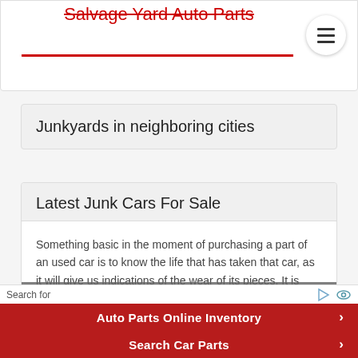Salvage Yard Auto Parts
Junkyards in neighboring cities
Latest Junk Cars For Sale
Something basic in the moment of purchasing a part of an used car is to know the life that has taken that car, as it will give us indications of the wear of its pieces. It is important to chat and ask anything you need to the seller of the car to avoid any discomfort.
$1,000
Search for
Auto Parts Online Inventory
Search Car Parts